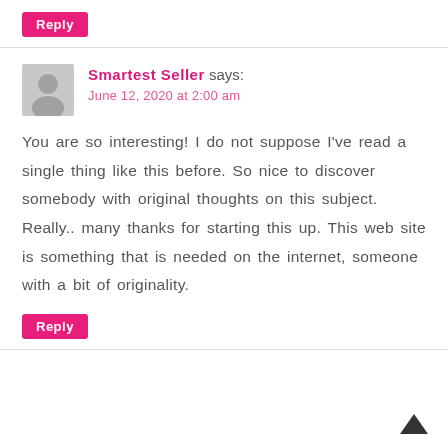Reply
Smartest Seller says:
June 12, 2020 at 2:00 am
You are so interesting! I do not suppose I've read a single thing like this before. So nice to discover somebody with original thoughts on this subject. Really.. many thanks for starting this up. This web site is something that is needed on the internet, someone with a bit of originality.
Reply